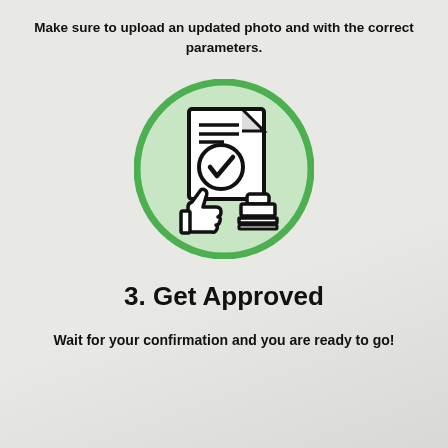Make sure to upload an updated photo and with the correct parameters.
[Figure (illustration): Green circle icon containing a document with checkmark, thumbs up, and approval stamp]
3. Get Approved
Wait for your confirmation and you are ready to go!